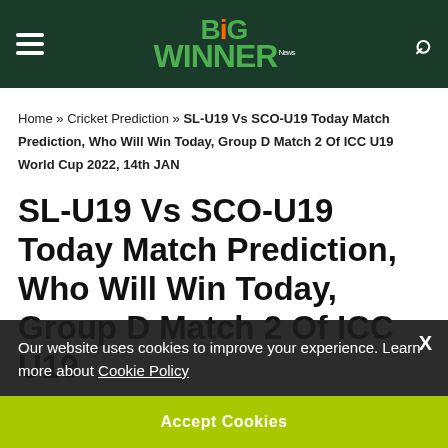BiG WINNER News
Home » Cricket Prediction » SL-U19 Vs SCO-U19 Today Match Prediction, Who Will Win Today, Group D Match 2 Of ICC U19 World Cup 2022, 14th JAN
SL-U19 Vs SCO-U19 Today Match Prediction, Who Will Win Today, Group D Match 2 Of ICC U19
Our website uses cookies to improve your experience. Learn more about Cookie Policy
Accept Cookies